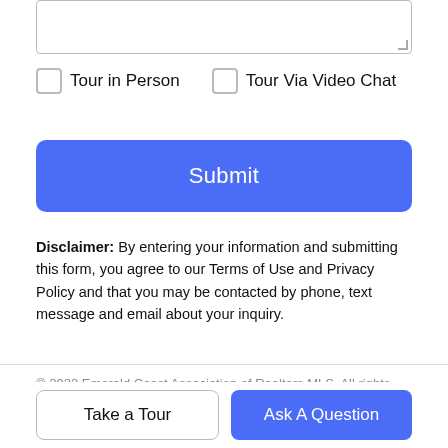Tour in Person
Tour Via Video Chat
Submit
Disclaimer: By entering your information and submitting this form, you agree to our Terms of Use and Privacy Policy and that you may be contacted by phone, text message and email about your inquiry.
© 2022 Emerald Coast Association of Realtors MLS. All rights reserved. IDX information is provided exclusively for consumers' personal, non-commercial use and may not be used for any purpose other than to identify prospective properties consumers may be interested in purchasing. Information is deemed reliable but is not guaranteed accurate by the MLS or Eimers Group Brokered by eXp Realty. Vendor Member number: 28178. Data last
Take a Tour
Ask A Question